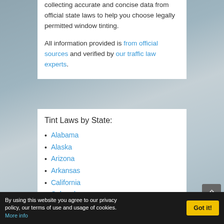collecting accurate and concise data from official state laws to help you choose legally permitted window tinting.
All information provided is from official sources and verified by our traffic law experts.
Tint Laws by State:
Alabama
Alaska
Arizona
Arkansas
California
Colorado
Connecticut
By using this website you agree to our privacy policy, our terms of use and usage of cookies. More info  Got it!